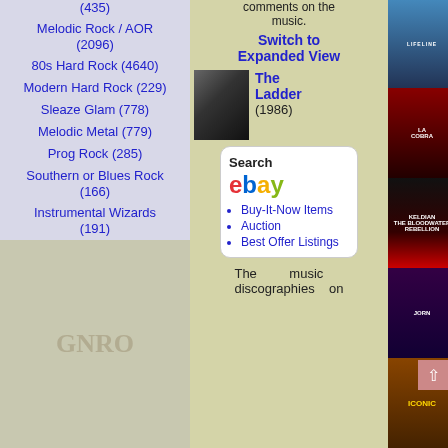(435)
Melodic Rock / AOR (2096)
80s Hard Rock (4640)
Modern Hard Rock (229)
Sleaze Glam (778)
Melodic Metal (779)
Prog Rock (285)
Southern or Blues Rock (166)
Instrumental Wizards (191)
comments on the music.
Switch to Expanded View
The Ladder (1986)
Search ebay • Buy-It-Now Items • Auction • Best Offer Listings
The music discographies on
[Figure (photo): Album cover - top right, mountain/landscape]
[Figure (photo): Album cover - La Cobra, dark demonic face]
[Figure (photo): Album cover - Keldian, The Bloodwater Rebellion, screaming figure]
[Figure (photo): Album cover - Jorn, performer with guitar on purple background]
[Figure (photo): Album cover - Iconic, golden text on dark background]